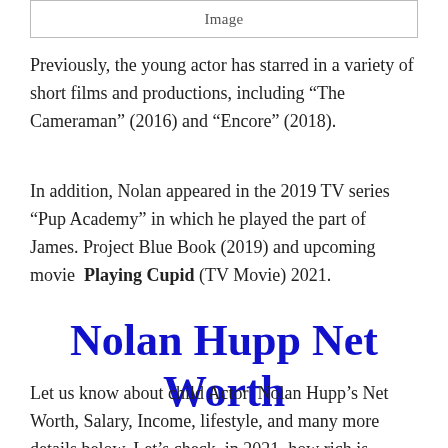[Figure (other): Image placeholder box with label 'Image']
Previously, the young actor has starred in a variety of short films and productions, including “The Cameraman” (2016) and “Encore” (2018).
In addition, Nolan appeared in the 2019 TV series “Pup Academy” in which he played the part of James. Project Blue Book (2019) and upcoming movie Playing Cupid (TV Movie) 2021.
Nolan Hupp Net Worth
Let us know about child Actor Nolan Hupp’s Net Worth, Salary, Income, lifestyle, and many more details below. Let’s check, in 2021, how rich is